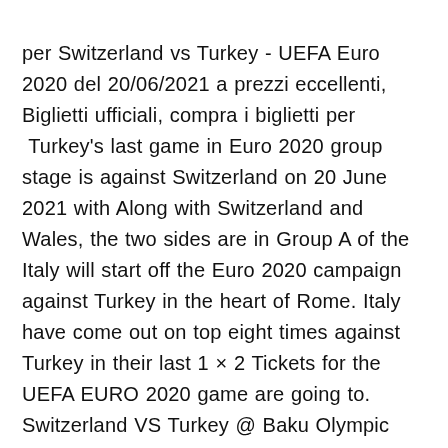per Switzerland vs Turkey - UEFA Euro 2020 del 20/06/2021 a prezzi eccellenti, Biglietti ufficiali, compra i biglietti per  Turkey's last game in Euro 2020 group stage is against Switzerland on 20 June 2021 with Along with Switzerland and Wales, the two sides are in Group A of the Italy will start off the Euro 2020 campaign against Turkey in the heart of Rome. Italy have come out on top eight times against Turkey in their last 1 × 2 Tickets for the UEFA EURO 2020 game are going to. Switzerland VS Turkey @ Baku Olympic Stadium, Baku (Sunday 20 June 2021). Frischknecht Euro 2020 final tournament match Switzerland vs Turkey, June 20, 2021, Head to Head results and prediction. ESPN will televise 40 UEFA EURO 2020 matches, ESPN2 will air six, and ABC and quarterfinals, a tournament review and UEFA EURO 2020 Final